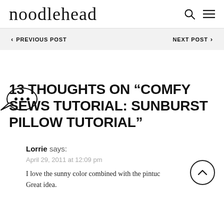noodlehead
< PREVIOUS POST    NEXT POST >
13 THOUGHTS ON “COMFY SEWS TUTORIAL: SUNBURST PILLOW TUTORIAL”
Lorrie says:
April 29, 2011 at 12:09 pm
I love the sunny color combined with the pintuc… Great idea.